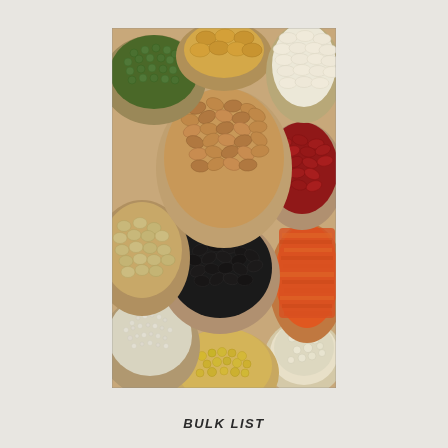[Figure (photo): Overhead photo of multiple burlap sacks/bags filled with various dried legumes, beans, grains and spices including mung beans (green), pinto beans (brown), kidney beans (red), black beans, white beans, lentils (orange/red), yellow split peas, chickpeas, quinoa/white grain, and orange ground spice.]
BULK LIST